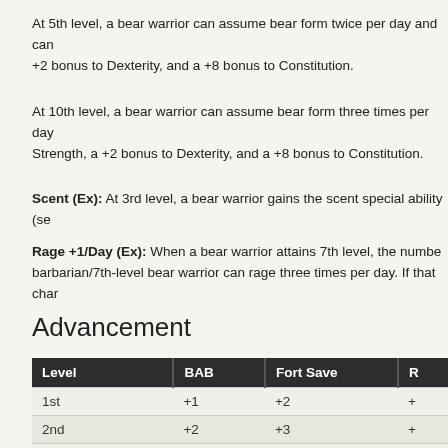At 5th level, a bear warrior can assume bear form twice per day and can +2 bonus to Dexterity, and a +8 bonus to Constitution.
At 10th level, a bear warrior can assume bear form three times per day Strength, a +2 bonus to Dexterity, and a +8 bonus to Constitution.
Scent (Ex): At 3rd level, a bear warrior gains the scent special ability (se
Rage +1/Day (Ex): When a bear warrior attains 7th level, the number barbarian/7th-level bear warrior can rage three times per day. If that char
Advancement
| Level | BAB | Fort Save |  |
| --- | --- | --- | --- |
| 1st | +1 | +2 | + |
| 2nd | +2 | +3 | + |
| 3rd | +3 | +3 | + |
| 4th | +4 | +4 | + |
| 5th | +5 | +4 | + |
| 6th | +6 | +5 | + |